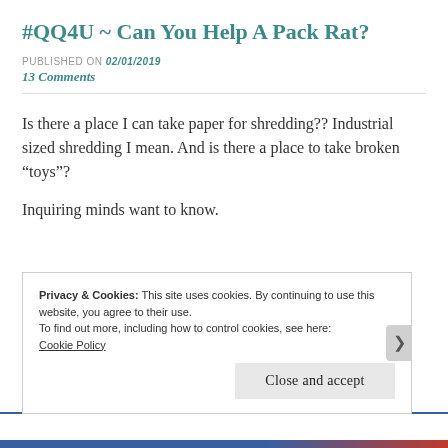#QQ4U ~ Can You Help A Pack Rat?
PUBLISHED ON 02/01/2019
13 Comments
Is there a place I can take paper for shredding?? Industrial sized shredding I mean. And is there a place to take broken “toys”?

Inquiring minds want to know.
Privacy & Cookies: This site uses cookies. By continuing to use this website, you agree to their use.
To find out more, including how to control cookies, see here:
Cookie Policy
Close and accept